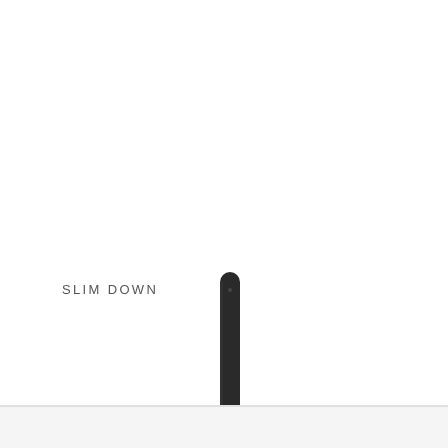SLIM DOWN
[Figure (photo): A slim dark-colored stylus or pen-like device standing vertically, showing its top rounded end, photographed against a white background. The device extends downward past the bottom edge of the composition.]